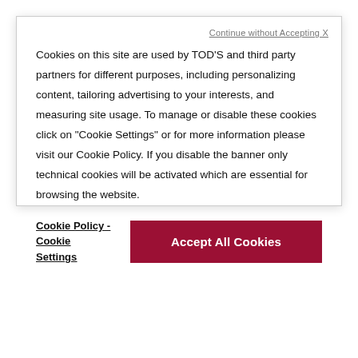Continue without Accepting X
Cookies on this site are used by TOD'S and third party partners for different purposes, including personalizing content, tailoring advertising to your interests, and measuring site usage. To manage or disable these cookies click on "Cookie Settings" or for more information please visit our Cookie Policy. If you disable the banner only technical cookies will be activated which are essential for browsing the website.
Cookie Policy - Cookie Settings
Accept All Cookies
Rhinestone trim
Broche Vivier crystal buckle
Belt width: 2.5 cm
Maintenance and care cards included